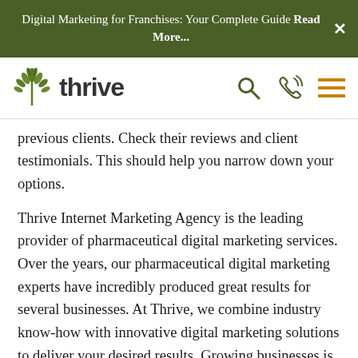Digital Marketing for Franchises: Your Complete Guide Read More...
[Figure (logo): Thrive Internet Marketing Agency logo with green leaf icon and bold 'thrive' text]
previous clients. Check their reviews and client testimonials. This should help you narrow down your options.
Thrive Internet Marketing Agency is the leading provider of pharmaceutical digital marketing services. Over the years, our pharmaceutical digital marketing experts have incredibly produced great results for several businesses. At Thrive, we combine industry know-how with innovative digital marketing solutions to deliver your desired results. Growing businesses is our passion and we've been doing